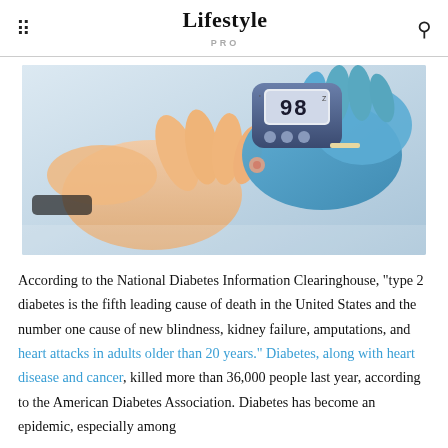Lifestyle PRO
[Figure (photo): Close-up of a healthcare worker in blue latex gloves using a blood glucose meter on a patient's finger. The meter displays '98'.]
According to the National Diabetes Information Clearinghouse, "type 2 diabetes is the fifth leading cause of death in the United States and the number one cause of new blindness, kidney failure, amputations, and heart attacks in adults older than 20 years." Diabetes, along with heart disease and cancer, killed more than 36,000 people last year, according to the American Diabetes Association. Diabetes has become an epidemic, especially among